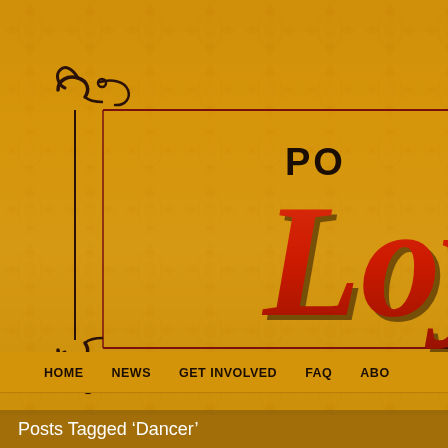[Figure (screenshot): Website header with golden damask background, decorative dark brown corner bracket ornament on the left, partially visible logo text 'Po...' and 'Loy...' in retro red italic style on the right, red horizontal border lines framing the header area]
HOME   NEWS   GET INVOLVED   FAQ   ABO...
Posts Tagged ‘Dancer’